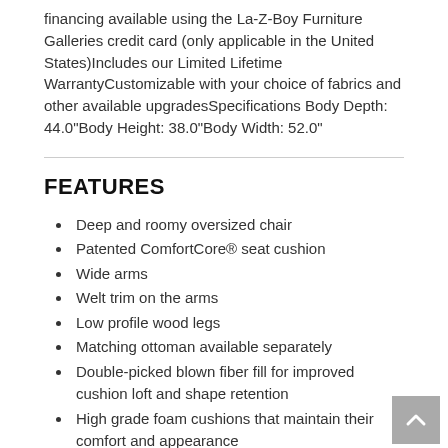financing available using the La-Z-Boy Furniture Galleries credit card (only applicable in the United States)Includes our Limited Lifetime WarrantyCustomizable with your choice of fabrics and other available upgradesSpecifications Body Depth: 44.0"Body Height: 38.0"Body Width: 52.0"
FEATURES
Deep and roomy oversized chair
Patented ComfortCore® seat cushion
Wide arms
Welt trim on the arms
Low profile wood legs
Matching ottoman available separately
Double-picked blown fiber fill for improved cushion loft and shape retention
High grade foam cushions that maintain their comfort and appearance